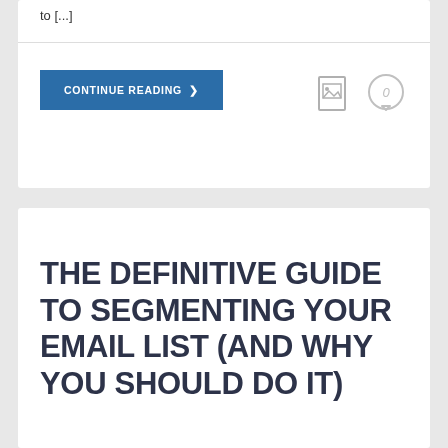to [...]
CONTINUE READING >
[Figure (other): Image icon (document with picture)]
[Figure (other): Comment/chat bubble icon with 0]
THE DEFINITIVE GUIDE TO SEGMENTING YOUR EMAIL LIST (AND WHY YOU SHOULD DO IT)